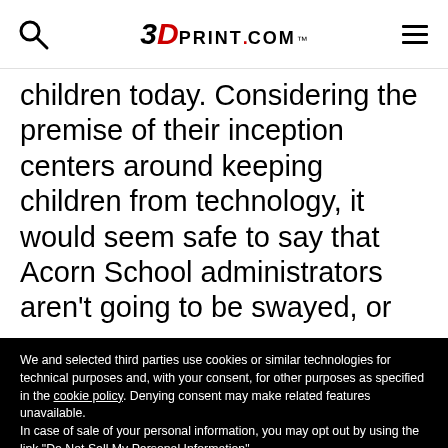3DPRINT.COM
children today. Considering the premise of their inception centers around keeping children from technology, it would seem safe to say that Acorn School administrators aren't going to be swayed, or
We and selected third parties use cookies or similar technologies for technical purposes and, with your consent, for other purposes as specified in the cookie policy. Denying consent may make related features unavailable. In case of sale of your personal information, you may opt out by using the link "Do Not Sell My Personal Information". To find out more about the categories of personal information collected and the purposes for which such information will be used, please refer to our privacy policy. You can consent to the use of such technologies by using the "Accept" button, by scrolling this page, by interacting with any link or button outside of this notice or by continuing to browse otherwise.
Reject
Accept
Learn more and customize